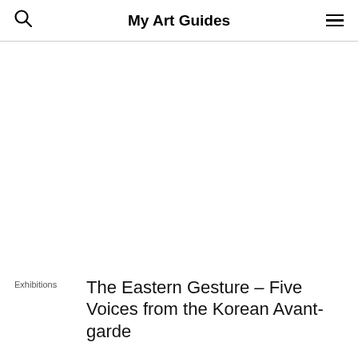My Art Guides
[Figure (photo): Large white/blank image area, likely a photograph of an artwork or exhibition that is not visible in this rendering.]
Exhibitions
The Eastern Gesture – Five Voices from the Korean Avant-garde